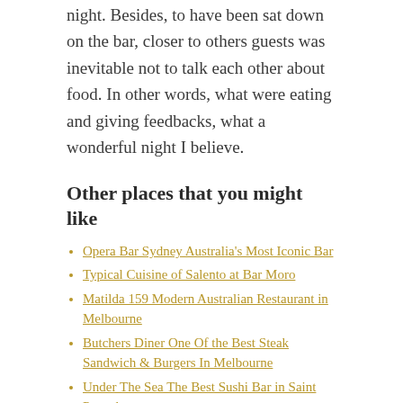night. Besides, to have been sat down on the bar, closer to others guests was inevitable not to talk each other about food. In other words, what were eating and giving feedbacks, what a wonderful night I believe.
Other places that you might like
Opera Bar Sydney Australia's Most Iconic Bar
Typical Cuisine of Salento at Bar Moro
Matilda 159 Modern Australian Restaurant in Melbourne
Butchers Diner One Of the Best Steak Sandwich & Burgers In Melbourne
Under The Sea The Best Sushi Bar in Saint Petersburg
Location Melbourne, Australia